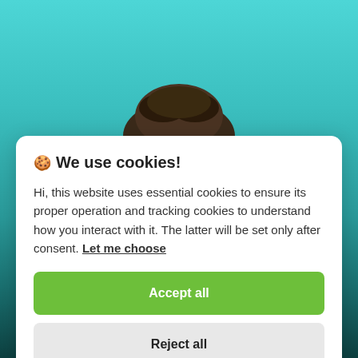[Figure (photo): Background showing a turquoise/teal colored scene with the top of a person's dark hair visible, transitioning to darker tones at the bottom.]
🍪 We use cookies!
Hi, this website uses essential cookies to ensure its proper operation and tracking cookies to understand how you interact with it. The latter will be set only after consent. Let me choose
Accept all
Reject all